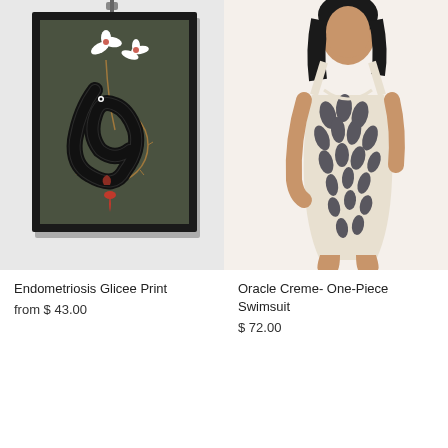[Figure (illustration): Framed art print with olive/dark green background showing a black snake coiled around a thorny vine with white flowers (orchids) and red accents, hanging on a wall by a clip]
Endometriosis Glicee Print
from $ 43.00
[Figure (photo): A woman wearing a cream-colored one-piece swimsuit with dark navy/black leaf or feather print pattern, shown from shoulders to upper thigh]
Oracle Creme- One-Piece Swimsuit
$ 72.00